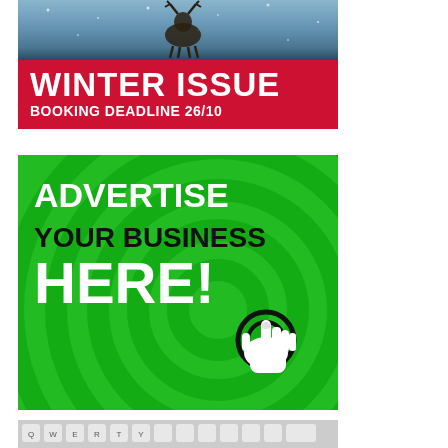[Figure (photo): Winter scene photo with snow and animal (deer) silhouette in the background]
WINTER ISSUE
BOOKING DEADLINE 26/10
[Figure (infographic): Green advertisement banner with circular rings pattern, text 'ADVERTISE YOUR BUSINESS HERE!' and a click/cursor hand icon]
[Figure (photo): Close-up photo of a white computer keyboard]